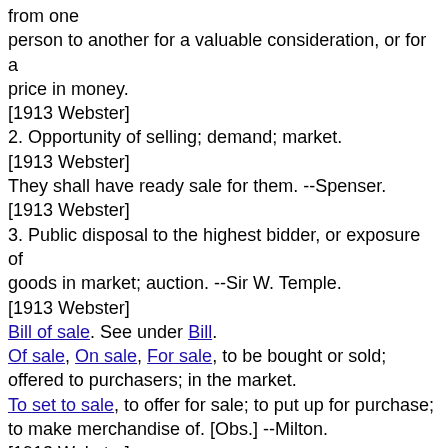from one person to another for a valuable consideration, or for a price in money. [1913 Webster] 2. Opportunity of selling; demand; market. [1913 Webster] They shall have ready sale for them. --Spenser. [1913 Webster] 3. Public disposal to the highest bidder, or exposure of goods in market; auction. --Sir W. Temple. [1913 Webster] Bill of sale. See under Bill. Of sale, On sale, For sale, to be bought or sold; offered to purchasers; in the market. To set to sale, to offer for sale; to put up for purchase; to make merchandise of. [Obs.] --Milton. [1913 Webster] Bill \Bill\ n. [OE. bill, bille, fr. LL. billa (or OF. bille),